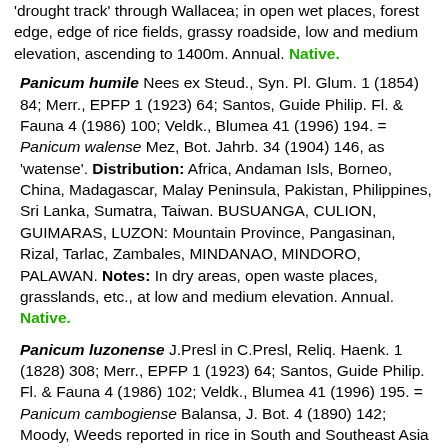'drought track' through Wallacea; in open wet places, forest edge, edge of rice fields, grassy roadside, low and medium elevation, ascending to 1400m. Annual. Native.
6. Panicum humile Nees ex Steud., Syn. Pl. Glum. 1 (1854) 84; Merr., EPFP 1 (1923) 64; Santos, Guide Philip. Fl. & Fauna 4 (1986) 100; Veldk., Blumea 41 (1996) 194. = Panicum walense Mez, Bot. Jahrb. 34 (1904) 146, as 'watense'. Distribution: Africa, Andaman Isls, Borneo, China, Madagascar, Malay Peninsula, Pakistan, Philippines, Sri Lanka, Sumatra, Taiwan. BUSUANGA, CULION, GUIMARAS, LUZON: Mountain Province, Pangasinan, Rizal, Tarlac, Zambales, MINDANAO, MINDORO, PALAWAN. Notes: In dry areas, open waste places, grasslands, etc., at low and medium elevation. Annual. Native.
7. Panicum luzonense J.Presl in C.Presl, Reliq. Haenk. 1 (1828) 308; Merr., EPFP 1 (1923) 64; Santos, Guide Philip. Fl. & Fauna 4 (1986) 102; Veldk., Blumea 41 (1996) 195. = Panicum cambogiense Balansa, J. Bot. 4 (1890) 142; Moody, Weeds reported in rice in South and Southeast Asia (1989) 338. = Panicum